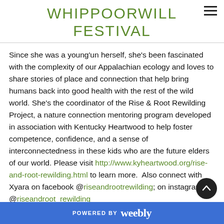WHIPPOORWILL FESTIVAL
Since she was a young'un herself, she's been fascinated with the complexity of our Appalachian ecology and loves to share stories of place and connection that help bring humans back into good health with the rest of the wild world. She's the coordinator of the Rise & Root Rewilding Project, a nature connection mentoring program developed in association with Kentucky Heartwood to help foster competence, confidence, and a sense of interconnectedness in these kids who are the future elders of our world. Please visit http://www.kyheartwood.org/rise-and-root-rewilding.html to learn more. Also connect with Xyara on facebook @riseandrootrewilding; on instagram @riseandroot_rewilding
POWERED BY weebly